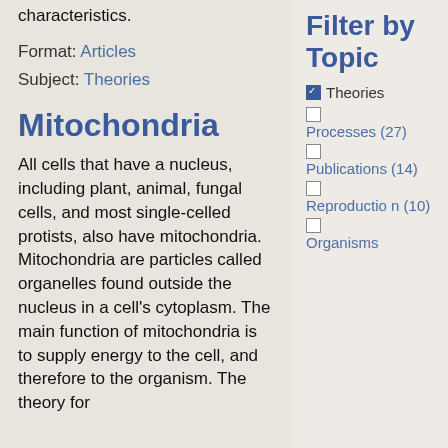characteristics.
Format: Articles
Subject: Theories
Mitochondria
All cells that have a nucleus, including plant, animal, fungal cells, and most single-celled protists, also have mitochondria. Mitochondria are particles called organelles found outside the nucleus in a cell's cytoplasm. The main function of mitochondria is to supply energy to the cell, and therefore to the organism. The theory for
Filter by Topic
☑ Theories
☐ Processes (27)
☐ Publications (14)
☐ Reproduction (10)
☐ Organisms